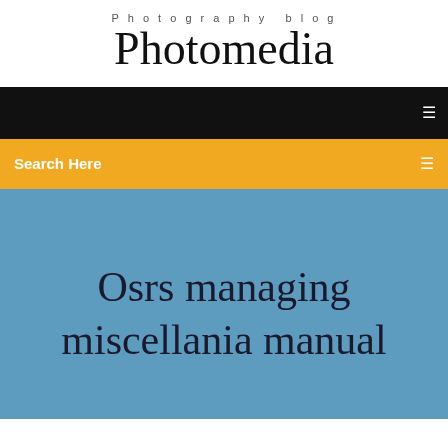Photography blog
Photomedia
[Figure (screenshot): Black navigation bar with a small white icon on the right]
Search Here
Osrs managing miscellania manual